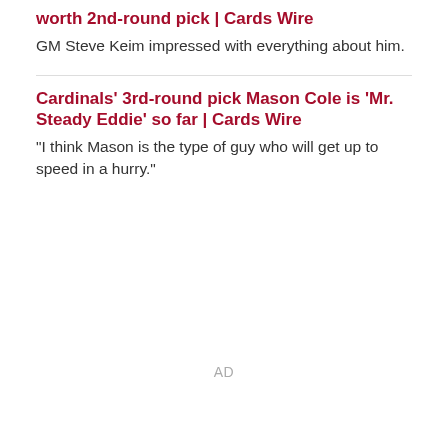worth 2nd-round pick | Cards Wire
GM Steve Keim impressed with everything about him.
Cardinals' 3rd-round pick Mason Cole is 'Mr. Steady Eddie' so far | Cards Wire
"I think Mason is the type of guy who will get up to speed in a hurry."
AD